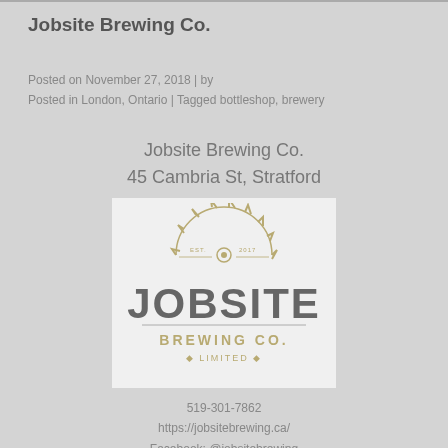Jobsite Brewing Co.
Posted on November 27, 2018 | by
Posted in London, Ontario | Tagged bottleshop, brewery
Jobsite Brewing Co.
45 Cambria St, Stratford
[Figure (logo): Jobsite Brewing Co. Limited logo with circular saw blade graphic above the text JOBSITE in large letters and BREWING CO. LIMITED below]
519-301-7862
https://jobsitebrewing.ca/
Facebook: @jobsitebrewing
Instagram: @jobsitebrewing